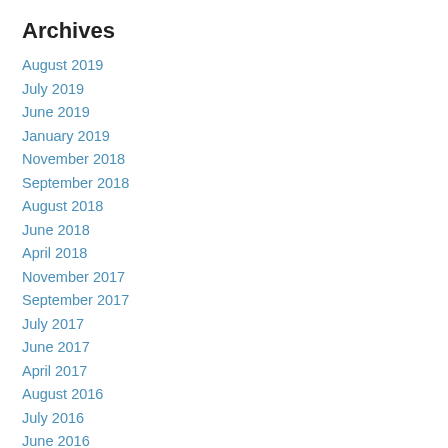Archives
August 2019
July 2019
June 2019
January 2019
November 2018
September 2018
August 2018
June 2018
April 2018
November 2017
September 2017
July 2017
June 2017
April 2017
August 2016
July 2016
June 2016
March 2016
February 2016